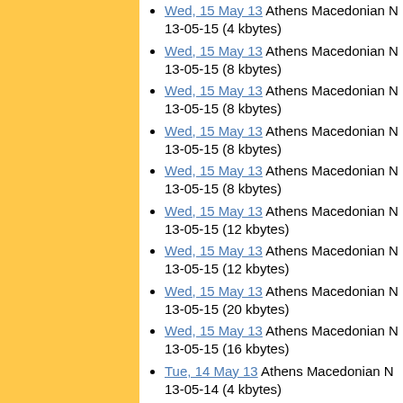Wed, 15 May 13 Athens Macedonian N 13-05-15 (4 kbytes)
Wed, 15 May 13 Athens Macedonian N 13-05-15 (8 kbytes)
Wed, 15 May 13 Athens Macedonian N 13-05-15 (8 kbytes)
Wed, 15 May 13 Athens Macedonian N 13-05-15 (8 kbytes)
Wed, 15 May 13 Athens Macedonian N 13-05-15 (8 kbytes)
Wed, 15 May 13 Athens Macedonian N 13-05-15 (12 kbytes)
Wed, 15 May 13 Athens Macedonian N 13-05-15 (12 kbytes)
Wed, 15 May 13 Athens Macedonian N 13-05-15 (20 kbytes)
Wed, 15 May 13 Athens Macedonian N 13-05-15 (16 kbytes)
Tue, 14 May 13 Athens Macedonian N 13-05-14 (4 kbytes)
Tue, 14 May 13 Athens Macedonian N 13-05-14 (4 kbytes)
Tue, 14 May 13 Athens Macedonian N 13-05-14 (8 kbytes)
Tue, 14 May 13 Athens Macedonian N 13-05-14 (8 kbytes)
Tue, 14 May 13 Athens Macedonian N...